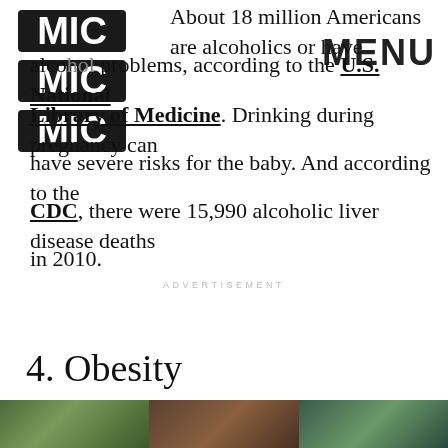[Figure (logo): MIC logo — stylized letters M, I, C stacked vertically in dark ink]
MENU
About 18 million Americans are alcoholics or have alcohol problems, according to the U.S. National Library of Medicine. Drinking during pregnancy can have severe risks for the baby. And according to the CDC, there were 15,990 alcoholic liver disease deaths in 2010.
ADVERTISEMENT
4. Obesity
[Figure (photo): Bottom image strip showing partial photos (greenery/nature on left, dark tones in middle, green tones on right)]